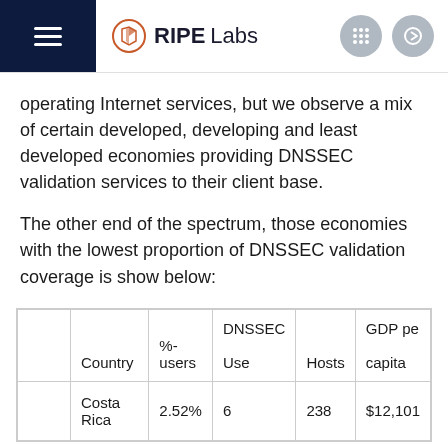RIPE Labs
operating Internet services, but we observe a mix of certain developed, developing and least developed economies providing DNSSEC validation services to their client base.
The other end of the spectrum, those economies with the lowest proportion of DNSSEC validation coverage is show below:
| Country | %-users | DNSSEC Use | Hosts | GDP pe capita |
| --- | --- | --- | --- | --- |
| Costa Rica | 2.52% | 6 | 238 | $12,101 |